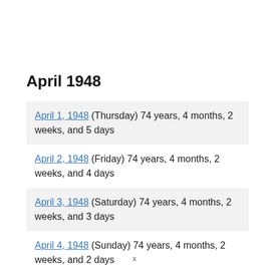April 1948
April 1, 1948 (Thursday) 74 years, 4 months, 2 weeks, and 5 days
April 2, 1948 (Friday) 74 years, 4 months, 2 weeks, and 4 days
April 3, 1948 (Saturday) 74 years, 4 months, 2 weeks, and 3 days
April 4, 1948 (Sunday) 74 years, 4 months, 2 weeks, and 2 days
x